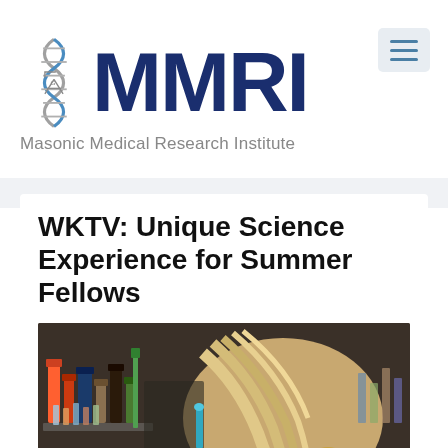[Figure (logo): MMRI Masonic Medical Research Institute logo with DNA double helix and Masonic compass symbol]
WKTV: Unique Science Experience for Summer Fellows
[Figure (photo): A blonde woman in a laboratory setting surrounded by bottles, test tubes, and lab equipment]